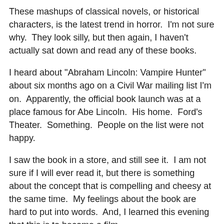These mashups of classical novels, or historical characters, is the latest trend in horror.  I'm not sure why.  They look silly, but then again, I haven't actually sat down and read any of these books.
I heard about "Abraham Lincoln: Vampire Hunter" about six months ago on a Civil War mailing list I'm on.  Apparently, the official book launch was at a place famous for Abe Lincoln.  His home.  Ford's Theater.  Something.  People on the list were not happy.
I saw the book in a store, and still see it.  I am not sure if I will ever read it, but there is something about the concept that is compelling and cheesy at the same time.  My feelings about the book are hard to put into words.  And, I learned this evening that this is to become a film.
This evening, I found a couple of youtube videos about the book that I thought I'd share with you.  The first is the official trailer for the book (yes, they make video trailers for books these days!).  And the second is a mock documentary about Lincoln discussing this hitherto unknown part of his life.